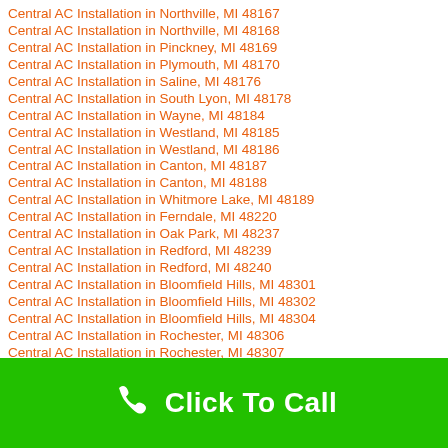Central AC Installation in Northville, MI 48167
Central AC Installation in Northville, MI 48168
Central AC Installation in Pinckney, MI 48169
Central AC Installation in Plymouth, MI 48170
Central AC Installation in Saline, MI 48176
Central AC Installation in South Lyon, MI 48178
Central AC Installation in Wayne, MI 48184
Central AC Installation in Westland, MI 48185
Central AC Installation in Westland, MI 48186
Central AC Installation in Canton, MI 48187
Central AC Installation in Canton, MI 48188
Central AC Installation in Whitmore Lake, MI 48189
Central AC Installation in Ferndale, MI 48220
Central AC Installation in Oak Park, MI 48237
Central AC Installation in Redford, MI 48239
Central AC Installation in Redford, MI 48240
Central AC Installation in Bloomfield Hills, MI 48301
Central AC Installation in Bloomfield Hills, MI 48302
Central AC Installation in Bloomfield Hills, MI 48304
Central AC Installation in Rochester, MI 48306
Central AC Installation in Rochester, MI 48307
Central AC Installation in Rochester, MI 48309
Central AC Installation in Keego Harbor, MI 48320
Central AC Installation in West Bloomfield, MI 48322
Central AC Installation in West Bloomfield, MI 48323
Central AC Installation in West Bloomfield, MI 48324
Central AC Installation in Auburn Hills, MI 48326
Central AC Installation in Waterford, MI 48327
[Figure (infographic): Green call-to-action bar with white phone icon and 'Click To Call' text in white]